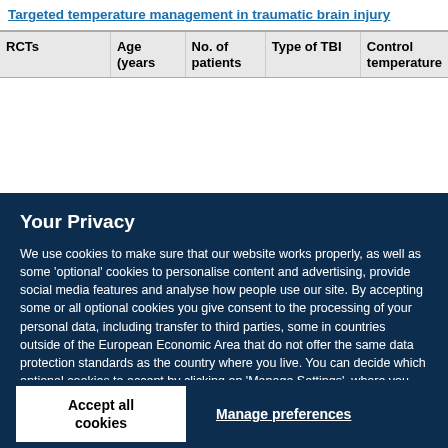Targeted temperature management in traumatic brain injury
| RCTs | Age (years | No. of patients | Type of TBI | Control temperature |
| --- | --- | --- | --- | --- |
Your Privacy
We use cookies to make sure that our website works properly, as well as some 'optional' cookies to personalise content and advertising, provide social media features and analyse how people use our site. By accepting some or all optional cookies you give consent to the processing of your personal data, including transfer to third parties, some in countries outside of the European Economic Area that do not offer the same data protection standards as the country where you live. You can decide which optional cookies to accept by clicking on 'Manage Settings', where you can also find more information about how your personal data is processed. Further information can be found in our privacy policy.
Accept all cookies
Manage preferences